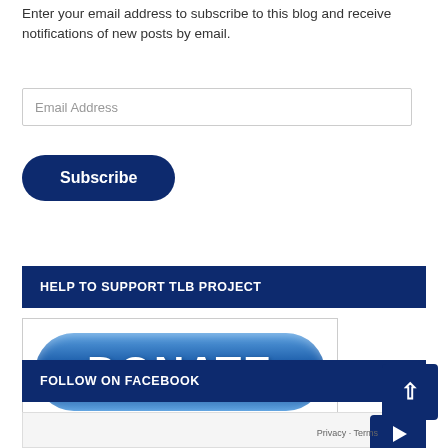Enter your email address to subscribe to this blog and receive notifications of new posts by email.
[Figure (screenshot): Email address input field with placeholder text 'Email Address']
[Figure (screenshot): Dark navy blue Subscribe button with rounded pill shape]
HELP TO SUPPORT TLB PROJECT
[Figure (screenshot): Donate button graphic with blue gradient pill shape labeled DONATE, with Safe & Secure text and Visa, MasterCard, Discover logos]
FOLLOW ON FACEBOOK